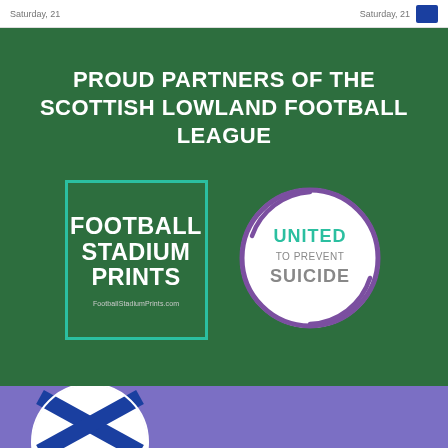PROUD PARTNERS OF THE SCOTTISH LOWLAND FOOTBALL LEAGUE
[Figure (logo): Football Stadium Prints logo — white bold text on dark green background inside a teal-bordered rectangle, with FootballStadiumPrints.com URL below]
[Figure (logo): United to Prevent Suicide circular logo — purple circle border with swirl, teal and grey text inside on white background]
[Figure (logo): Scottish football saltire/cross logo — white and blue, partially visible at bottom on purple background]